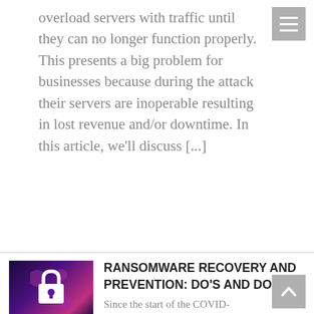overload servers with traffic until they can no longer function properly. This presents a big problem for businesses because during the attack their servers are inoperable resulting in lost revenue and/or downtime. In this article, we'll discuss [...]
[Figure (photo): Dark purple/pink background with a white padlock icon in the center, representing ransomware or cybersecurity]
RANSOMWARE RECOVERY AND PREVENTION: DO'S AND DON'TS
Since the start of the COVID-